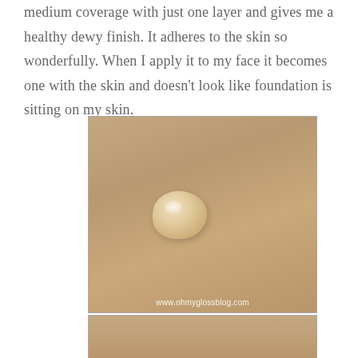medium coverage with just one layer and gives me a healthy dewy finish. It adheres to the skin so wonderfully. When I apply it to my face it becomes one with the skin and doesn't look like foundation is sitting on my skin.
[Figure (photo): Close-up photo of a drop of beige/tan liquid foundation on skin, showing the texture and consistency of the product. A watermark reading www.ohmyglossblog.com appears at the bottom of the image.]
[Figure (photo): Partial view of a second photo showing skin, cropped at the bottom of the page.]